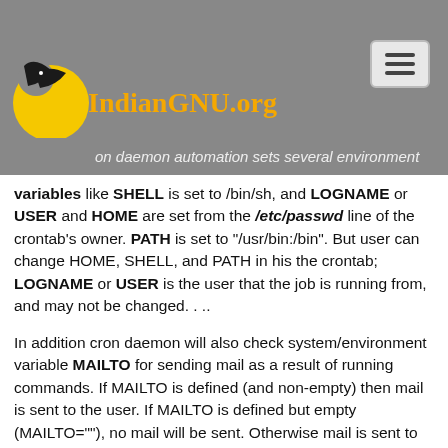IndianGNU.org — on daemon automation sets several environment variables
variables like SHELL is set to /bin/sh, and LOGNAME or USER and HOME are set from the /etc/passwd line of the crontab's owner. PATH is set to "/usr/bin:/bin". But user can change HOME, SHELL, and PATH in his the crontab; LOGNAME or USER is the user that the job is running from, and may not be changed. . ..
In addition cron daemon will also check system/environment variable MAILTO for sending mail as a result of running commands. If MAILTO is defined (and non-empty) then mail is sent to the user. If MAILTO is defined but empty (MAILTO=""), no mail will be sent. Otherwise mail is sent to the owner of the crontab.